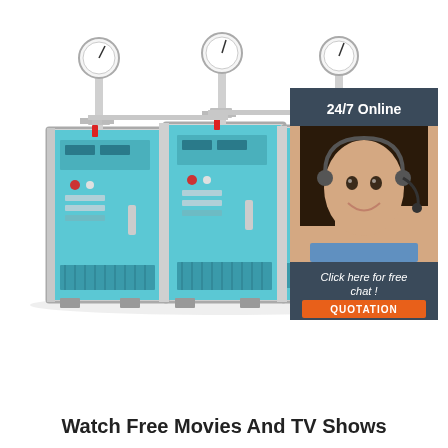[Figure (photo): Industrial electric steam boiler with three blue panels, pressure gauges on top, control panels on front, and ventilation grilles at bottom]
[Figure (infographic): 24/7 Online chat box advertisement with a woman wearing a headset, dark blue background, orange QUOTATION button, and text 'Click here for free chat!']
Watch Free Movies And TV Shows